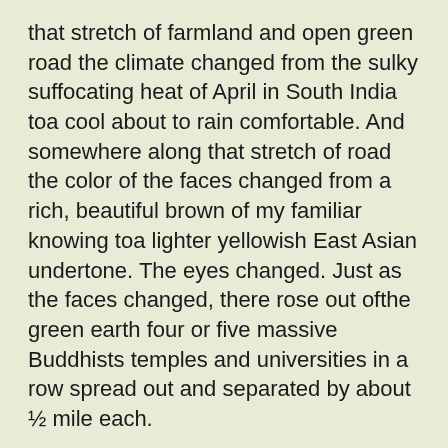that stretch of farmland and open green road the climate changed from the sulky suffocating heat of April in South India toa cool about to rain comfortable. And somewhere along that stretch of road the color of the faces changed from a rich, beautiful brown of my familiar knowing toa lighter yellowish East Asian undertone. The eyes changed. Just as the faces changed, there rose out ofthe green earth four or five massive Buddhists temples and universities in a row spread out and separated by about ½ mile each.
----
I found out quickly that I had entered a place with entirely different notions about life purpose and productivity. Soon after I arrived I pointed out to a monk that a mosquito was sucking his blood. He nodded in acknowledgement and said something brief about the accumulation of merit and allowing another being to nourish itself off your own. (Luckily